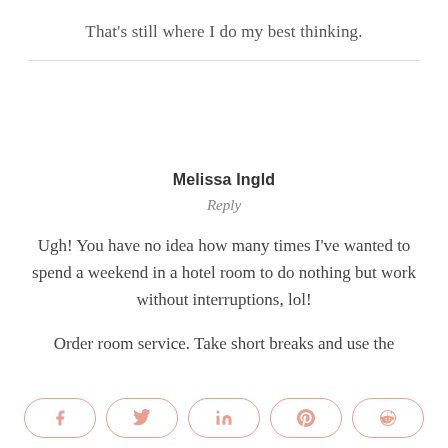That's still where I do my best thinking.
Melissa Ingld
Reply
Ugh! You have no idea how many times I've wanted to spend a weekend in a hotel room to do nothing but work without interruptions, lol!
Order room service. Take short breaks and use the
[Figure (other): Social share buttons row: Facebook, Twitter, LinkedIn, Pinterest, Reddit icons in rounded pill-shaped buttons with pink/salmon outline.]